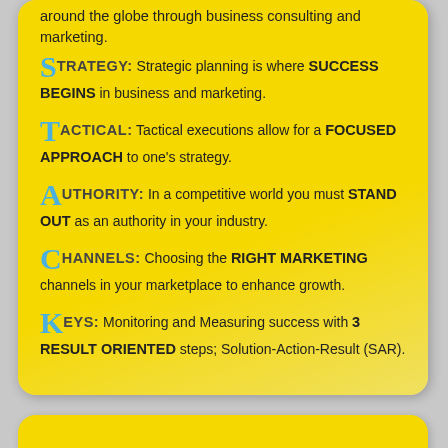around the globe through business consulting and marketing.
STRATEGY: Strategic planning is where SUCCESS BEGINS in business and marketing.
TACTICAL: Tactical executions allow for a FOCUSED APPROACH to one's strategy.
AUTHORITY: In a competitive world you must STAND OUT as an authority in your industry.
CHANNELS: Choosing the RIGHT MARKETING channels in your marketplace to enhance growth.
KEYS: Monitoring and Measuring success with 3 RESULT ORIENTED steps; Solution-Action-Result (SAR).